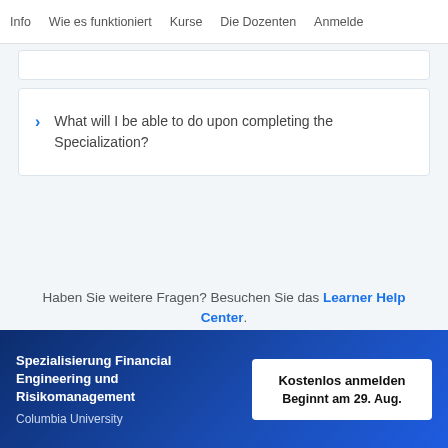Info   Wie es funktioniert   Kurse   Die Dozenten   Anmelde
What will I be able to do upon completing the Specialization?
Haben Sie weitere Fragen? Besuchen Sie das Learner Help Center.
Spezialisierung Financial Engineering und Risikomanagement
Columbia University
Kostenlos anmelden
Beginnt am 29. Aug.